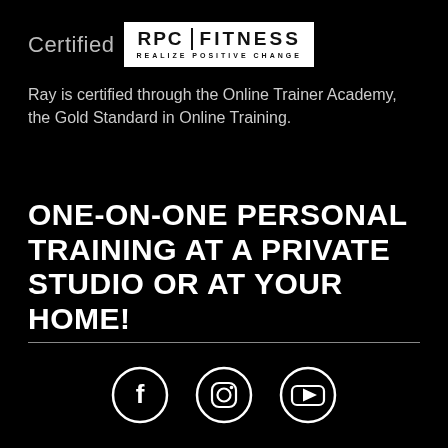[Figure (logo): RPC Fitness logo — white box with RPC | FITNESS text and tagline REALIZE POSITIVE CHANGE]
Ray is certified through the Online Trainer Academy, the Gold Standard in Online Training.
ONE-ON-ONE PERSONAL TRAINING AT A PRIVATE STUDIO OR AT YOUR HOME!
[Figure (illustration): Social media icons row: Facebook, Instagram, YouTube — white circle outlines on black background]